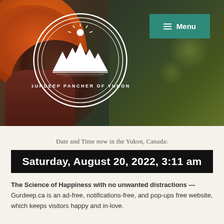[Figure (photo): Hero header image showing a person wearing an orange turban with a blurred forest/nature background. A circular logo for 'Gurdeep Pancher of Yukon' with mountain and sun imagery is overlaid on the left side. A teal 'Menu' button with hamburger icon is in the top right corner.]
Date and Time now in the Yukon, Canada:
Saturday, August 20, 2022, 3:11 am
The Science of Happiness with no unwanted distractions — Gurdeep.ca is an ad-free, notifications-free, and pop-ups free website, which keeps visitors happy and in-love.